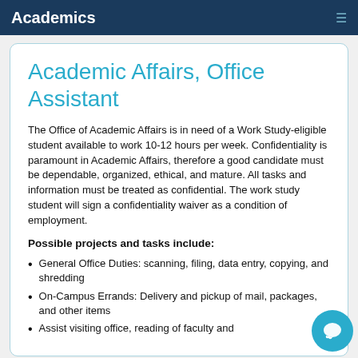Academics
Academic Affairs, Office Assistant
The Office of Academic Affairs is in need of a Work Study-eligible student available to work 10-12 hours per week. Confidentiality is paramount in Academic Affairs, therefore a good candidate must be dependable, organized, ethical, and mature. All tasks and information must be treated as confidential. The work study student will sign a confidentiality waiver as a condition of employment.
Possible projects and tasks include:
General Office Duties: scanning, filing, data entry, copying, and shredding
On-Campus Errands: Delivery and pickup of mail, packages, and other items
Assist visiting office, reading of faculty and...